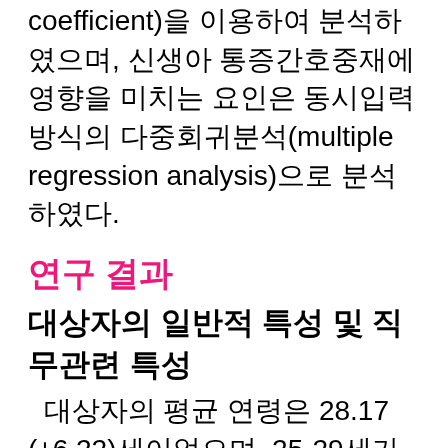coefficient)을 이용하여 분석하였으며, 신생아 통증간호중재에 영향을 미치는 요인은 동시입력 방식의 다중회귀분석(multiple regression analysis)으로 분석하였다.
연구 결과
대상자의 일반적 특성 및 직무관련 특성
대상자의 평균 연령은 28.17 (±6.22)세이었으며, 25-29세가